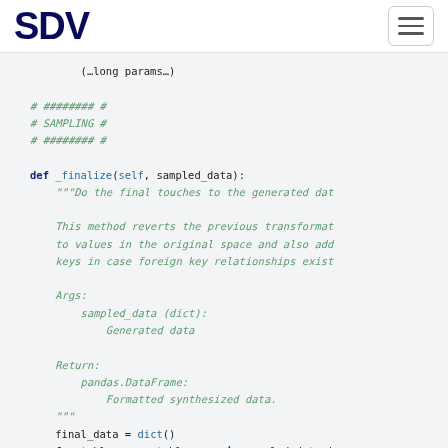SDV
[Figure (screenshot): Python source code showing a _finalize method with docstring describing sampling, with comments, function definition, docstring, and code body including final_data = dict(), for loop, and parents assignment.]